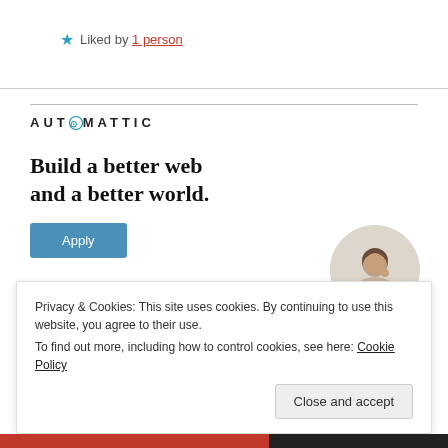★ Liked by 1 person
[Figure (illustration): Automattic logo with compass icon in the O, followed by tagline 'Build a better web and a better world.' with an Apply button and a circular photo of a person]
Privacy & Cookies: This site uses cookies. By continuing to use this website, you agree to their use. To find out more, including how to control cookies, see here: Cookie Policy
Close and accept